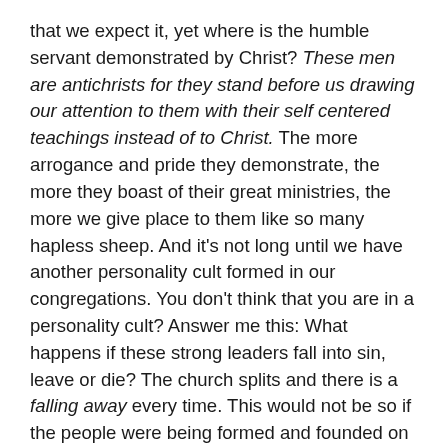that we expect it, yet where is the humble servant demonstrated by Christ? These men are antichrists for they stand before us drawing our attention to them with their self centered teachings instead of to Christ. The more arrogance and pride they demonstrate, the more they boast of their great ministries, the more we give place to them like so many hapless sheep. And it's not long until we have another personality cult formed in our congregations. You don't think that you are in a personality cult? Answer me this: What happens if these strong leaders fall into sin, leave or die? The church splits and there is a falling away every time. This would not be so if the people were being formed and founded on Christ as their One True Foundation, if so hey would continue to be members one of another as God's loving family.
Religious Idols...